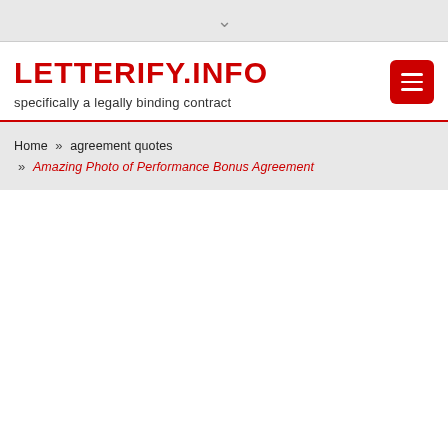LETTERIFY.INFO
specifically a legally binding contract
Home » agreement quotes » Amazing Photo of Performance Bonus Agreement